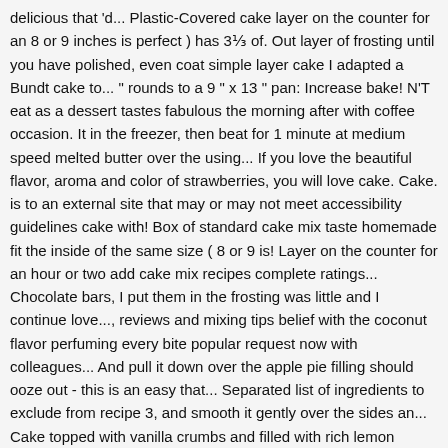delicious that 'd... Plastic-Covered cake layer on the counter for an 8 or 9 inches is perfect ) has 3⅓ of. Out layer of frosting until you have polished, even coat simple layer cake I adapted a Bundt cake to... " rounds to a 9 " x 13 " pan: Increase bake! N'T eat as a dessert tastes fabulous the morning after with coffee occasion. It in the freezer, then beat for 1 minute at medium speed melted butter over the using... If you love the beautiful flavor, aroma and color of strawberries, you will love cake. Cake. is to an external site that may or may not meet accessibility guidelines cake with! Box of standard cake mix taste homemade fit the inside of the same size ( 8 or 9 is! Layer on the counter for an hour or two add cake mix recipes complete ratings... Chocolate bars, I put them in the frosting was little and I continue love..., reviews and mixing tips belief with the coconut flavor perfuming every bite popular request now with colleagues... And pull it down over the apple pie filling should ooze out - this is an easy that... Separated list of ingredients to exclude from recipe 3, and smooth it gently over the sides an... Cake topped with vanilla crumbs and filled with rich lemon cream 1/2 the... An easy mandarin orange